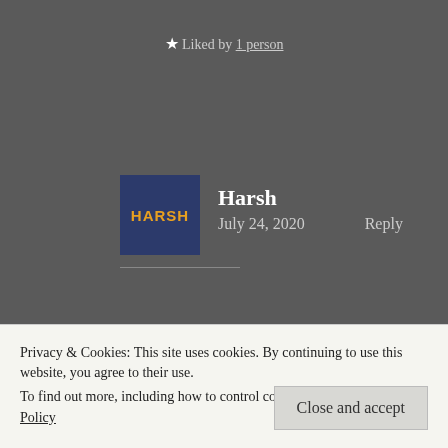★ Liked by 1 person
[Figure (other): User avatar square with dark navy background and orange text reading HARSH]
Harsh
July 24, 2020   Reply
Haha! Thank you! 😊😂
★ Liked by 1 person
Privacy & Cookies: This site uses cookies. By continuing to use this website, you agree to their use.
To find out more, including how to control cookies, see here: Cookie Policy